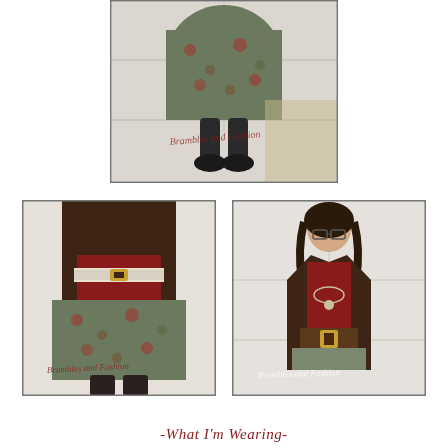[Figure (photo): Fashion blog photo: lower half of a person wearing a floral midi skirt, knee-high black socks, and dark shoes, standing in front of a white garage door. Watermark reads 'Brambles and Fashion'.]
[Figure (photo): Fashion blog photo: torso and lower body of a person wearing a dark brown jacket, red top, wide black belt, and floral midi skirt with dark boots. Watermark reads 'Brambles and Fashion'.]
[Figure (photo): Fashion blog photo: full body of a young woman wearing glasses, a dark brown jacket, red top, necklace, wide brown belt, and a floral skirt, standing against a white brick/paneled wall. Watermark reads 'Brambles and Fashion'.]
-What I'm Wearing-